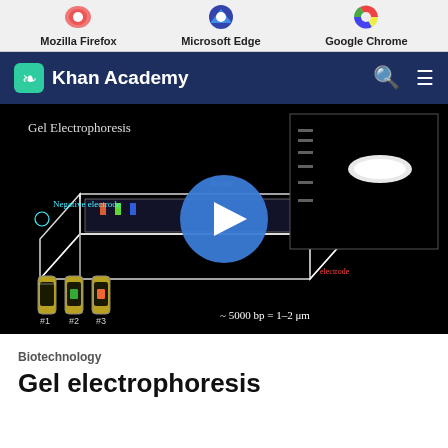[Figure (screenshot): Browser selection bar showing Mozilla Firefox, Microsoft Edge, and Google Chrome icons with labels]
[Figure (screenshot): Khan Academy navigation bar with green logo icon, 'Khan Academy' text in white on dark navy background, search icon, and hamburger menu icon]
[Figure (screenshot): Video thumbnail showing gel electrophoresis diagram on black background with blue play button overlay. Diagram shows: labeled gel electrophoresis setup with negative electrode, buffer, agarose gel, test tubes labeled #1 #2 #3, notation ~5000 bp = 1-2 μm, and a gel result image in top right corner.]
Biotechnology
Gel electrophoresis